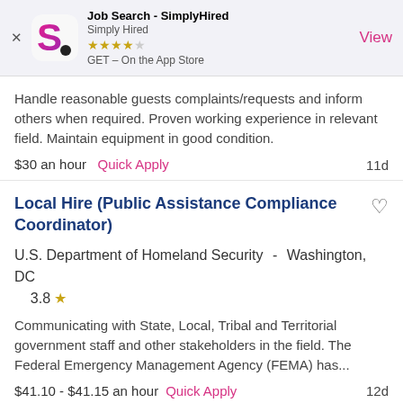[Figure (screenshot): App Store banner for Job Search - SimplyHired app with logo, star rating, and View button]
Handle reasonable guests complaints/requests and inform others when required. Proven working experience in relevant field. Maintain equipment in good condition.
$30 an hour  Quick Apply  11d
Local Hire (Public Assistance Compliance Coordinator)
U.S. Department of Homeland Security -  Washington, DC     3.8 ★
Communicating with State, Local, Tribal and Territorial government staff and other stakeholders in the field. The Federal Emergency Management Agency (FEMA) has...
$41.10 - $41.15 an hour  Quick Apply  12d